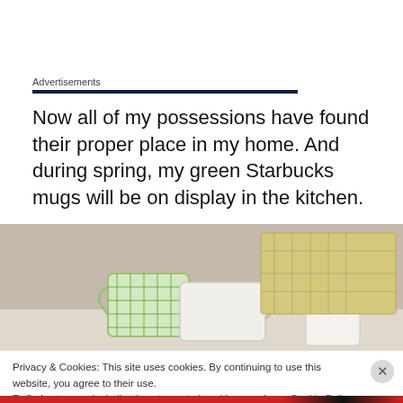Advertisements
Now all of my possessions have found their proper place in my home. And during spring, my green Starbucks mugs will be on display in the kitchen.
[Figure (photo): Photo of Starbucks mugs (green plaid and white) on a kitchen counter with a decorative box in the background]
Privacy & Cookies: This site uses cookies. By continuing to use this website, you agree to their use.
To find out more, including how to control cookies, see here: Cookie Policy
Close and accept